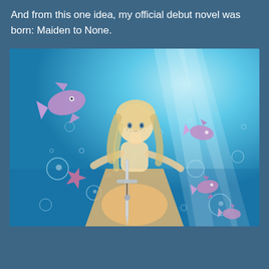And from this one idea, my official debut novel was born: Maiden to None.
[Figure (illustration): Underwater scene illustration showing a young girl with long blonde hair wearing a white/cream dress, holding a sword, surrounded by bubbles and small purple/pink fantastical fish-like creatures, with rays of light streaming down through blue water.]